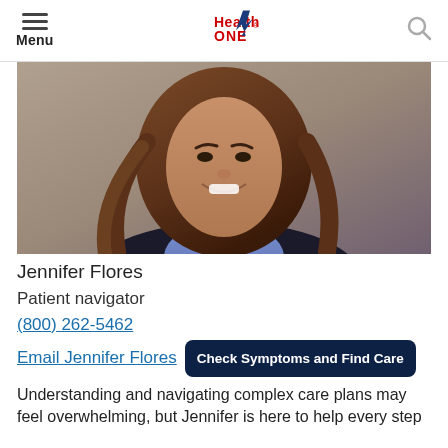Menu | HealthONE | Search
[Figure (photo): Professional headshot of Jennifer Flores, a young woman with long brown hair, smiling, wearing a purple/blue collared shirt and dark blazer, against a neutral background]
Jennifer Flores
Patient navigator
(800) 262-5462
Email Jennifer Flores
Check Symptoms and Find Care
Understanding and navigating complex care plans may feel overwhelming, but Jennifer is here to help every step